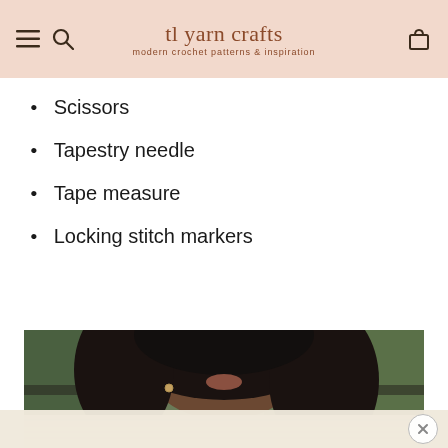tl yarn crafts — modern crochet patterns & inspiration
Scissors
Tapestry needle
Tape measure
Locking stitch markers
[Figure (photo): Close-up photo of a woman with curly hair wearing a light knit/crochet sweater, shot outdoors with blurred greenery in background]